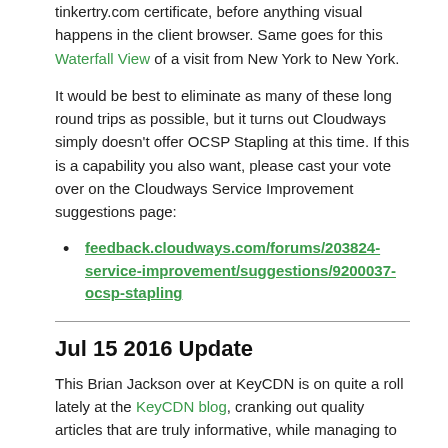tinkertry.com certificate, before anything visual happens in the client browser. Same goes for this Waterfall View of a visit from New York to New York.
It would be best to eliminate as many of these long round trips as possible, but it turns out Cloudways simply doesn't offer OCSP Stapling at this time. If this is a capability you also want, please cast your vote over on the Cloudways Service Improvement suggestions page:
feedback.cloudways.com/forums/203824-service-improvement/suggestions/9200037-ocsp-stapling
Jul 15 2016 Update
This Brian Jackson over at KeyCDN is on quite a roll lately at the KeyCDN blog, cranking out quality articles that are truly informative, while managing to stay away from sounding salesy. Each is an interesting deep dive into the world of web site performance optimization, you should catch them all.
Top 12 Browser Compatibility Testing Tools